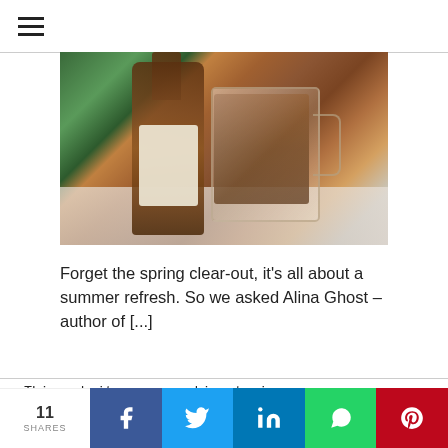≡ (hamburger menu)
[Figure (photo): A bottle of dark liquid (likely rum or spirits) with a vintage label showing a figure, next to a glass mug with ER monogram filled with dark liquid, placed on a light table surface with outdoor/kitchen background.]
Forget the spring clear-out, it's all about a summer refresh. So we asked Alina Ghost – author of [...]
This website uses cookies to improve your experience. We'll assume you're ok with this, but you can opt-out if you wish.
11 SHARES | Facebook | Twitter | LinkedIn | WhatsApp | Pinterest